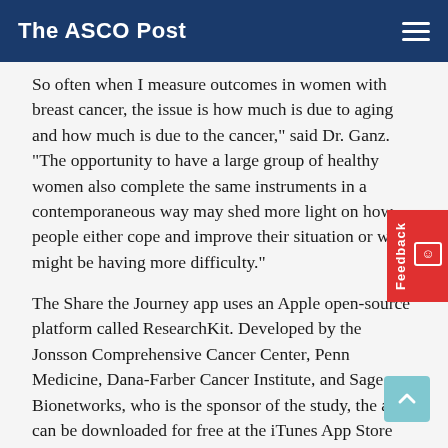The ASCO Post
So often when I measure outcomes in women with breast cancer, the issue is how much is due to aging and how much is due to the cancer," said Dr. Ganz. "The opportunity to have a large group of healthy women also complete the same instruments in a contemporaneous way may shed more light on how people either cope and improve their situation or who might be having more difficulty."
The Share the Journey app uses an Apple open-source platform called ResearchKit. Developed by the Jonsson Comprehensive Cancer Center, Penn Medicine, Dana-Farber Cancer Institute, and Sage Bionetworks, who is the sponsor of the study, the app can be downloaded for free at the iTunes App Store (sharethejourneyapp.org). To ensure participants' confidentiality, each user is assigned a unique, random code for data collection by the researchers.
In addition to Dr. Ganz, Ann H. Partridge, MD, MPH, Clinical Director of the Breast Oncology Program at Dana-Farber Cancer Institute,